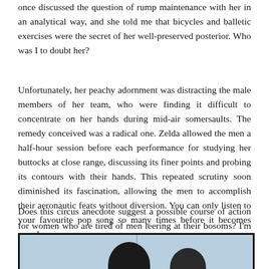once discussed the question of rump maintenance with her in an analytical way, and she told me that bicycles and balletic exercises were the secret of her well-preserved posterior. Who was I to doubt her?
Unfortunately, her peachy adornment was distracting the male members of her team, who were finding it difficult to concentrate on her hands during mid-air somersaults. The remedy conceived was a radical one. Zelda allowed the men a half-hour session before each performance for studying her buttocks at close range, discussing its finer points and probing its contours with their hands. This repeated scrutiny soon diminished its fascination, allowing the men to accomplish their aeronautic feats without diversion. You can only listen to your favourite pop song so many times before it becomes mundane.
Does this circus anecdote suggest a possible course of action for women who are tired of men leering at their bosoms? I'm not one to belabour a point, so I'll let you work it out for yourselves.
[Figure (photo): Bottom portion of a photograph showing two people, with a dividing line in the middle, light blue/sky background visible at top of the image strip.]